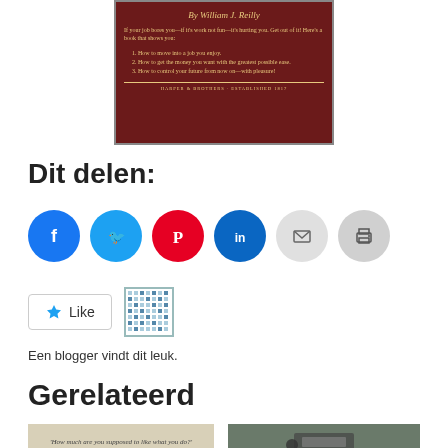[Figure (photo): Back cover of a book by William J. Reilly. Dark red background with golden text listing three points about getting a job you enjoy, getting money, and controlling your future. Publisher: Harper & Brothers, Established 1817.]
Dit delen:
[Figure (infographic): Row of social sharing icon circles: Facebook (blue), Twitter (blue), Pinterest (red), LinkedIn (dark blue), Email (light gray), Print (gray)]
[Figure (infographic): WordPress Like button with star icon and 'Like' text, next to a small avatar/QR-style image]
Een blogger vindt dit leuk.
Gerelateerd
[Figure (photo): Thumbnail image with text: 'How much are you supposed to like what you do?']
[Figure (photo): Thumbnail photo of a vintage typewriter]